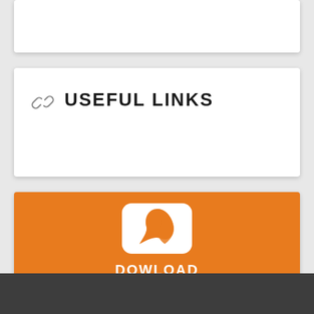USEFUL LINKS
[Figure (illustration): Orange card with Adobe Acrobat PDF icon in white rounded square, and text 'DOWLOAD FULL SHEET' in white bold capitals]